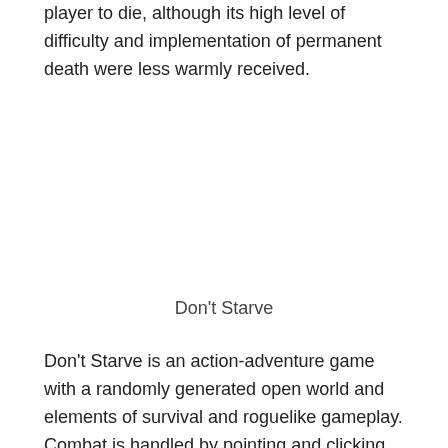player to die, although its high level of difficulty and implementation of permanent death were less warmly received.
Don't Starve
Don't Starve is an action-adventure game with a randomly generated open world and elements of survival and roguelike gameplay. Combat is handled by pointing and clicking with the